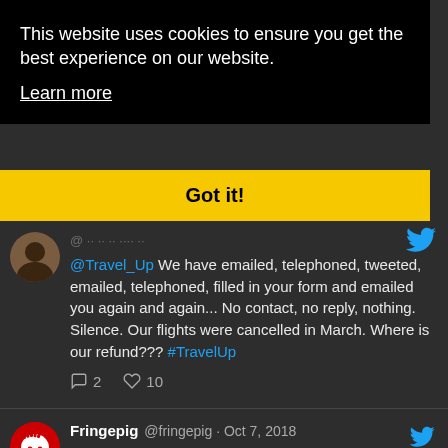This website uses cookies to ensure you get the best experience on our website.
Learn more
Got it!
@Travel_Up We have emailed, telephoned, tweeted, emailed, telephoned, filled in your form and emailed you again and again... No contact, no reply, nothing. Silence. Our flights were cancelled in March. Where is our refund??? #TravelUp
2   10
Fringepig @fringepig · Oct 7, 2018
Can't remember.. is it OK or cruel to laugh at Kanye West? It's only a matter of time before we realise it's cruel, surely?